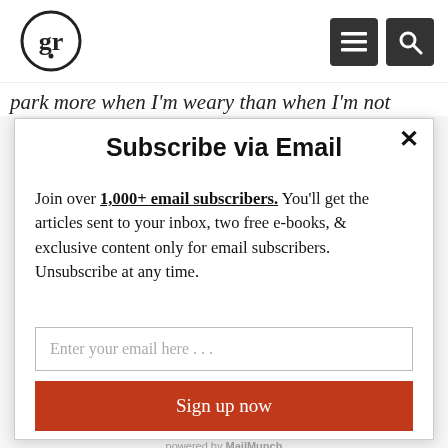[Figure (logo): Circular logo with lowercase letters 'gr' in serif font inside a circle]
park more when I'm weary than when I'm not
Subscribe via Email
Join over 1,000+ email subscribers. You'll get the articles sent to your inbox, two free e-books, & exclusive content only for email subscribers. Unsubscribe at any time.
Enter your email here . . .
Sign up now
powered by MailMunch